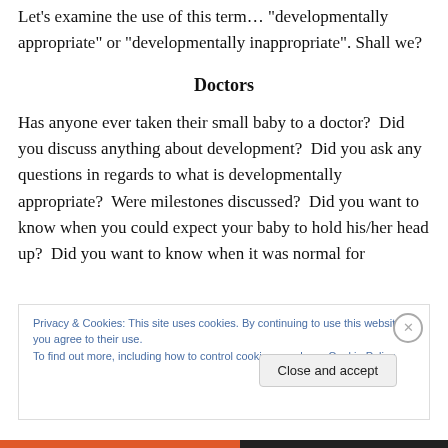Let's examine the use of this term… "developmentally appropriate" or "developmentally inappropriate". Shall we?
Doctors
Has anyone ever taken their small baby to a doctor? Did you discuss anything about development? Did you ask any questions in regards to what is developmentally appropriate? Were milestones discussed? Did you want to know when you could expect your baby to hold his/her head up? Did you want to know when it was normal for
Privacy & Cookies: This site uses cookies. By continuing to use this website, you agree to their use.
To find out more, including how to control cookies, see here: Cookie Policy